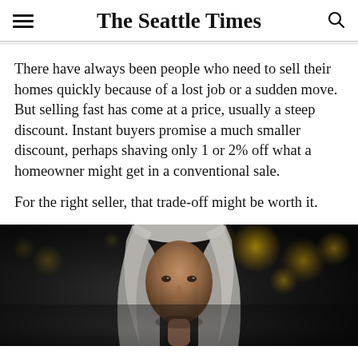The Seattle Times
There have always been people who need to sell their homes quickly because of a lost job or a sudden move. But selling fast has come at a price, usually a steep discount. Instant buyers promise a much smaller discount, perhaps shaving only 1 or 2% off what a homeowner might get in a conventional sale.
For the right seller, that trade-off might be worth it.
[Figure (photo): Portrait photo of an older woman with long gray hair, photographed against a dark bokeh background with golden circular light blurs.]